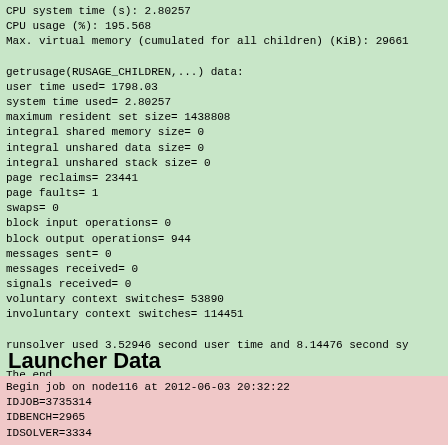CPU system time (s): 2.80257
CPU usage (%): 195.568
Max. virtual memory (cumulated for all children) (KiB): 29661

getrusage(RUSAGE_CHILDREN,...) data:
user time used= 1798.03
system time used= 2.80257
maximum resident set size= 1438808
integral shared memory size= 0
integral unshared data size= 0
integral unshared stack size= 0
page reclaims= 23441
page faults= 1
swaps= 0
block input operations= 0
block output operations= 944
messages sent= 0
messages received= 0
signals received= 0
voluntary context switches= 53890
involuntary context switches= 114451

runsolver used 3.52946 second user time and 8.14476 second sy

The end
Launcher Data
Begin job on node116 at 2012-06-03 20:32:22
IDJOB=3735314
IDBENCH=2965
IDSOLVER=3334